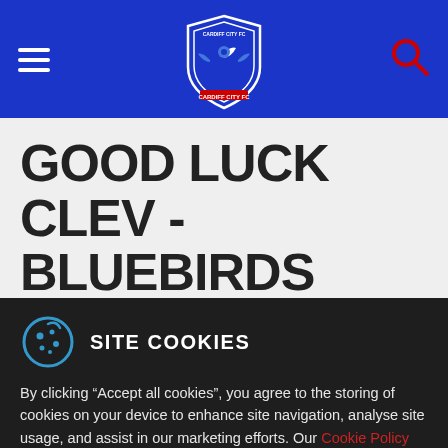Cardiff City FC navigation header with hamburger menu, club crest logo, and search icon
GOOD LUCK CLEV - BLUEBIRDS BACK NATHAN
By clicking “Accept all cookies”, you agree to the storing of cookies on your device to enhance site navigation, analyse site usage, and assist in our marketing efforts. Our Cookie Policy shows you what we collect.

You can tailor your site experience by clicking "Set cookie preferences".